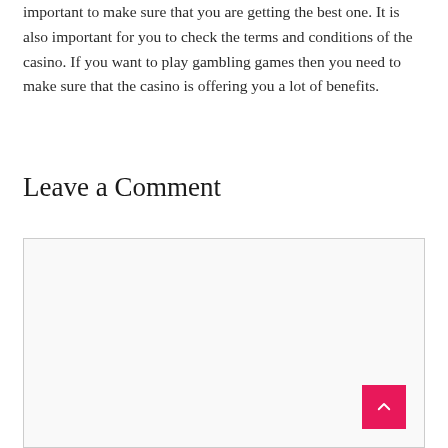important to make sure that you are getting the best one. It is also important for you to check the terms and conditions of the casino. If you want to play gambling games then you need to make sure that the casino is offering you a lot of benefits.
Leave a Comment